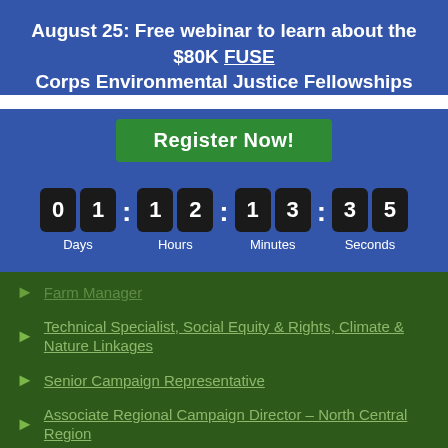August 25: Free webinar to learn about the $80K FUSE Corps Environmental Justice Fellowships
Register Now!
[Figure (infographic): Countdown timer showing 01 Days, 12 Hours, 13 Minutes, 35 Seconds with dark digit boxes on blue background]
Farm Manager
Technical Specialist, Social Equity & Rights, Climate & Nature Linkages
Senior Campaign Representative
Associate Regional Campaign Director – North Central Region